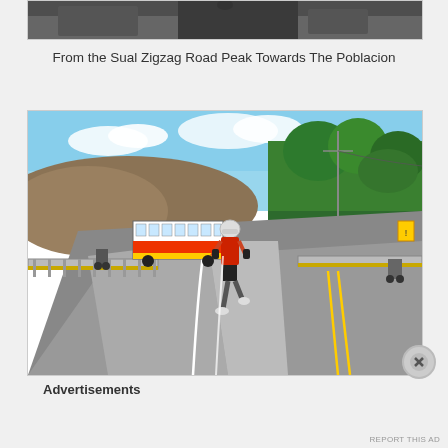[Figure (photo): Top portion of a photo showing a road scene, partially cropped at the top of the page]
From the Sual Zigzag Road Peak Towards The Poblacion
[Figure (photo): A runner in red shirt and white helmet running on the Sual Zigzag Road, with a colorful bus (white, red, yellow) in the background, guardrails on the left, hills and trees visible]
Advertisements